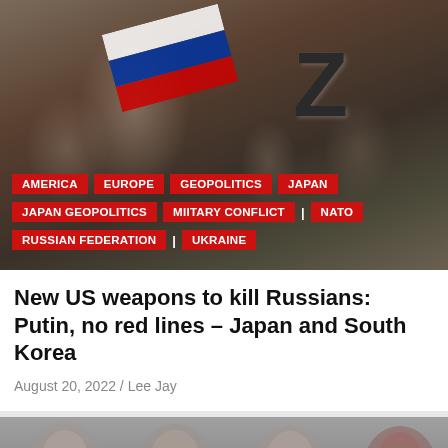[Figure (photo): Outdoor crowd scene with people waving a Russian flag; a large letter Z is visible on a vehicle in the background]
AMERICA
EUROPE
GEOPOLITICS
JAPAN
JAPAN GEOPOLITICS
MIITARY CONFLICT
NATO
RUSSIAN FEDERATION
UKRAINE
New US weapons to kill Russians: Putin, no red lines – Japan and South Korea
August 20, 2022 / Lee Jay
[Figure (photo): Crowd of Asian people wearing face masks, seen from the front]